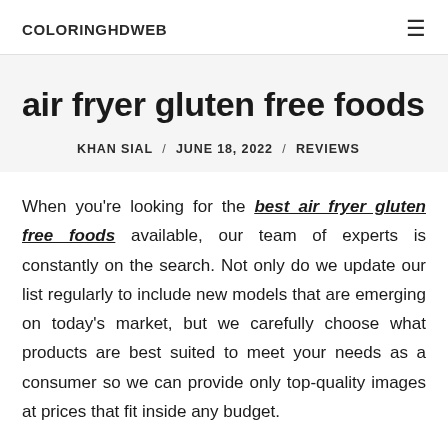COLORINGHDWEB
air fryer gluten free foods
KHAN SIAL / JUNE 18, 2022 / REVIEWS
When you're looking for the best air fryer gluten free foods available, our team of experts is constantly on the search. Not only do we update our list regularly to include new models that are emerging on today's market, but we carefully choose what products are best suited to meet your needs as a consumer so we can provide only top-quality images at prices that fit inside any budget.